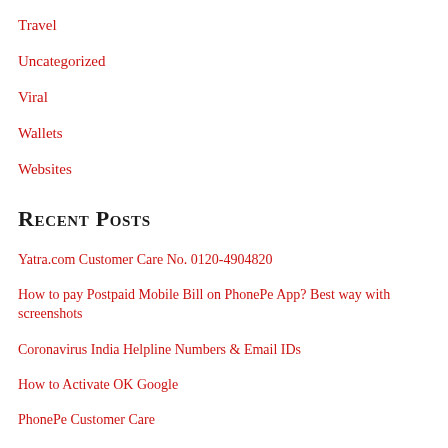Travel
Uncategorized
Viral
Wallets
Websites
Recent Posts
Yatra.com Customer Care No. 0120-4904820
How to pay Postpaid Mobile Bill on PhonePe App? Best way with screenshots
Coronavirus India Helpline Numbers & Email IDs
How to Activate OK Google
PhonePe Customer Care
Top 6 Hairstyles for Black Girls
How to Delete My Activity from Google Mobile App